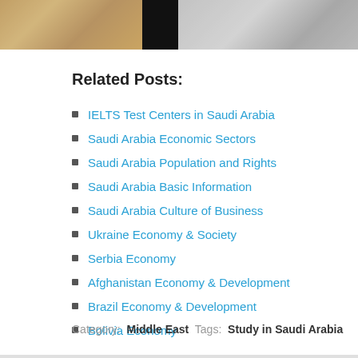[Figure (photo): Strip of three photos: left shows a person at a podium with Arabic text, middle is a dark/black rectangle, right shows shopping carts in grayscale]
Related Posts:
IELTS Test Centers in Saudi Arabia
Saudi Arabia Economic Sectors
Saudi Arabia Population and Rights
Saudi Arabia Basic Information
Saudi Arabia Culture of Business
Ukraine Economy & Society
Serbia Economy
Afghanistan Economy & Development
Brazil Economy & Development
Bolivia Economy
Category: Middle East  Tags: Study in Saudi Arabia